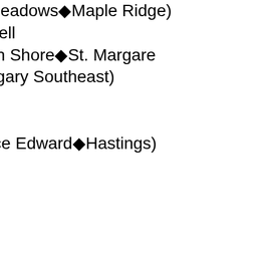Kamp (Pitt Meadows–Maple Ridge)
Karetak-Lindell
Keddy (South Shore–St. Margaret's)
Kenney (Calgary Southeast)
Khan
Komarnicki
Kramp (Prince Edward–Hastings)
Lake
Lauzon
LeBlanc
Lee
Lemieux
Lukiwski
Lunn
MacAulay
MacKay (Central Nova)
MacKenzie
Maloney
Manning
Mark
Marleau
Martin (Esquimalt–Juan de Fuca)
Matthews
Mayes
McCallum
McGuire
Menzies
Merrifield
Miller
Mills